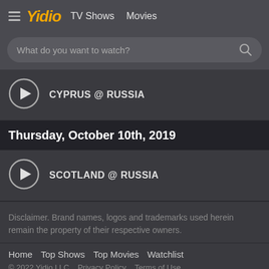≡ Yidio  TV Shows  Movies
What do you want to watch?
CYPRUS @ RUSSIA
Thursday, October 10th, 2019
SCOTLAND @ RUSSIA
Disclaimer. Brand names, logos and trademarks used herein remain the property of their respective owners.
Home  Top Shows  Top Movies  Watchlist  © 2022 Yidio LLC  Privacy Policy  Terms of Use